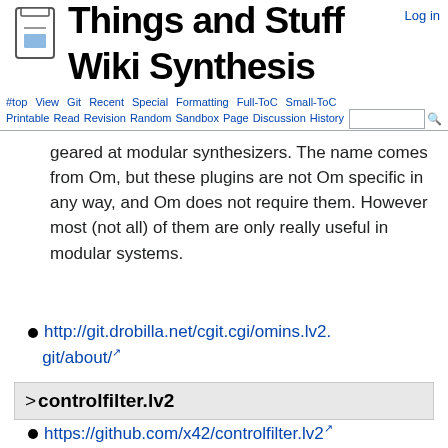Things and Stuff Wiki Synthesis
geared at modular synthesizers. The name comes from Om, but these plugins are not Om specific in any way, and Om does not require them. However most (not all) of them are only really useful in modular systems.
http://git.drobilla.net/cgit.cgi/omins.lv2.git/about/
>controlfilter.lv2
https://github.com/x42/controlfilter.lv2
https://github.com/x42/plumbing.lv2